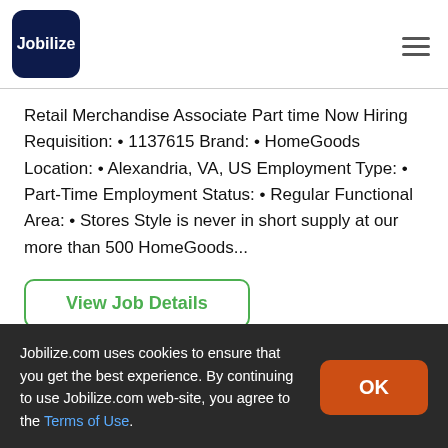Jobilize
Retail Merchandise Associate Part time Now Hiring Requisition: • 1137615 Brand: • HomeGoods Location: • Alexandria, VA, US Employment Type: • Part-Time Employment Status: • Regular Functional Area: • Stores Style is never in short supply at our more than 500 HomeGoods...
View Job Details
Jobilize.com uses cookies to ensure that you get the best experience. By continuing to use Jobilize.com web-site, you agree to the Terms of Use.